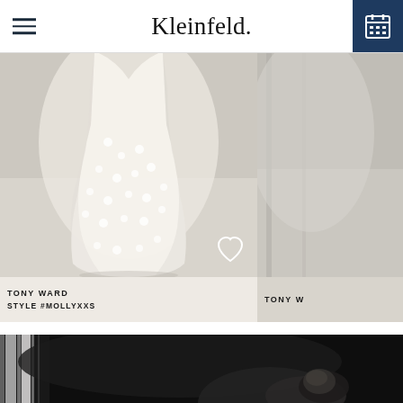Kleinfeld.
[Figure (photo): Wedding dress product photo showing a flouncy appliqué ball gown skirt in ivory/white, photographed against a neutral studio background. A heart/favorite icon is visible in the bottom right corner.]
TONY WARD
STYLE #MOLLYXXS
[Figure (photo): Partial view of another wedding dress in a similar studio setting, cropped at right edge.]
TONY W
[Figure (photo): Black and white editorial photograph of a bride with dark upswept hair, partially visible against a dark background with window light on the left.]